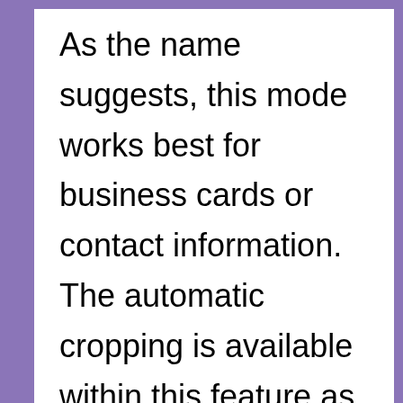As the name suggests, this mode works best for business cards or contact information. The automatic cropping is available within this feature as well, though the final image can only be exported as a Microsoft Office OneNote contact and image, or as an